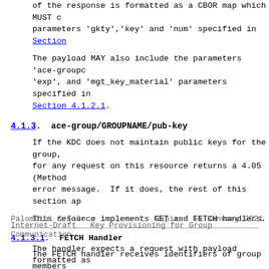of the response is formatted as a CBOR map which MUST c parameters 'gkty','key' and 'num' specified in Section
The payload MAY also include the parameters 'ace-groupc 'exp', and 'mgt_key_material' parameters specified in Section 4.1.2.1.
4.1.3.  ace-group/GROUPNAME/pub-key
If the KDC does not maintain public keys for the group, for any request on this resource returns a 4.05 (Method error message.  If it does, the rest of this section ap
This resource implements GET and FETCH handlers.
4.1.3.1.  FETCH Handler
The FETCH handler receives identifiers of group members identified by "GROUPNAME" and returns the public keys o members.
Palombini & Tiloca          Expires 14 January 2021
Internet-Draft   Key Provisioning for Group Communication
The handler expects a request with payload formatted as